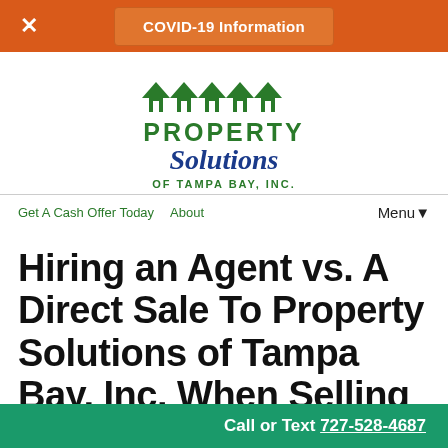COVID-19 Information
[Figure (logo): Property Solutions of Tampa Bay, Inc. logo with green house icons and stylized text]
Get A Cash Offer Today  About  Menu▼
Hiring an Agent vs. A Direct Sale To Property Solutions of Tampa Bay, Inc. When Selling Your
Call or Text 727-528-4687